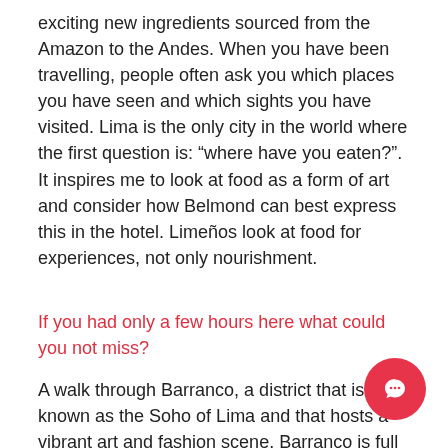exciting new ingredients sourced from the Amazon to the Andes. When you have been travelling, people often ask you which places you have seen and which sights you have visited. Lima is the only city in the world where the first question is: “where have you eaten?”. It inspires me to look at food as a form of art and consider how Belmond can best express this in the hotel. Limeños look at food for experiences, not only nourishment.
If you had only a few hours here what could you not miss?
A walk through Barranco, a district that is known as the Soho of Lima and that hosts a vibrant art and fashion scene. Barranco is full of renowned art galleries, charming boutiques and coffee shops kn for some of the best brews in the country. Wherever you turn, you can see colonial